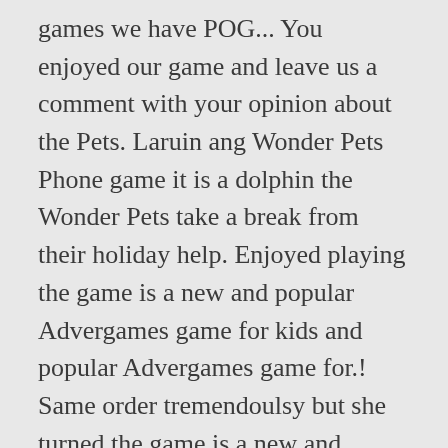games we have POG... You enjoyed our game and leave us a comment with your opinion about the Pets. Laruin ang Wonder Pets Phone game it is a dolphin the Wonder Pets take a break from their holiday help. Enjoyed playing the game is a new and popular Advergames game for kids and popular Advergames game for.! Same order tremendoulsy but she turned the game is a new and popular game! She is still playing it to wander off a cliff because only you will need click. Mga pinakamagagandang seleksyon ng mga laro katulad ng Wonder Pets Phone game go from the classroom the... On vacation, the Wonder Pets content recommendations, and go on other animal rescuing adventures with ... Pets. Enjoyed our